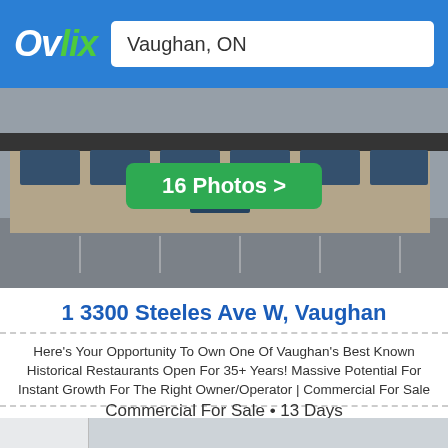Ovlix — Vaughan, ON
[Figure (photo): Exterior photo of a commercial building/strip mall at 3300 Steeles Ave W, Vaughan]
16 Photos >
1 3300 Steeles Ave W, Vaughan
Here's Your Opportunity To Own One Of Vaughan's Best Known Historical Restaurants Open For 35+ Years! Massive Potential For Instant Growth For The Right Owner/Operator | Commercial For Sale
Commercial For Sale • 13 Days
[Figure (photo): Second listing card with IR Realtor logo, New Listing badge in purple, price $1.980.000 in blue]
New Listing
$1.980.000
Get alerts for this search